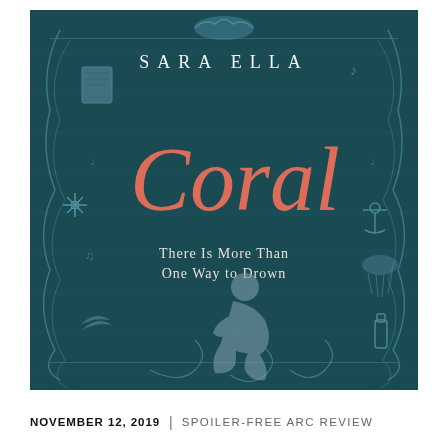[Figure (illustration): Book cover of 'Coral' by Sara Ella. Dark teal/navy background with decorative swirling border elements including sea creatures, music notes, compass, jellyfish, anchor, book, and bottle. Large coral/salmon colored cursive title 'Coral' in center. Author name 'SARA ELLA' in white at top. Subtitle 'There Is More Than One Way to Drown' in white below title. Silhouette of a sitting girl in gray in lower center.]
NOVEMBER 12, 2019  |  SPOILER-FREE ARC REVIEW